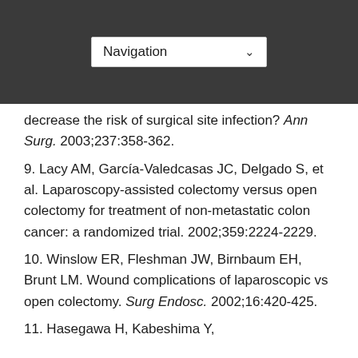Navigation
decrease the risk of surgical site infection? Ann Surg. 2003;237:358-362.
9. Lacy AM, García-Valedcasas JC, Delgado S, et al. Laparoscopy-assisted colectomy versus open colectomy for treatment of non-metastatic colon cancer: a randomized trial. 2002;359:2224-2229.
10. Winslow ER, Fleshman JW, Birnbaum EH, Brunt LM. Wound complications of laparoscopic vs open colectomy. Surg Endosc. 2002;16:420-425.
11. Hasegawa H, Kabeshima Y,